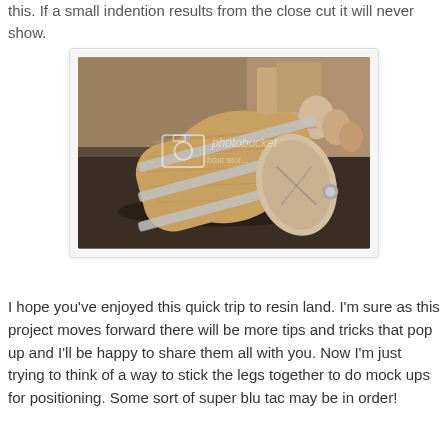this. If a small indention results from the close cut it will never show.
[Figure (photo): A wooden barrel/drum lying on its side on a dark surface, with silver metal bands around it. A photobucket watermark is visible over the image. Other similar objects visible in the background.]
I hope you've enjoyed this quick trip to resin land. I'm sure as this project moves forward there will be more tips and tricks that pop up and I'll be happy to share them all with you. Now I'm just trying to think of a way to stick the legs together to do mock ups for positioning. Some sort of super blu tac may be in order!